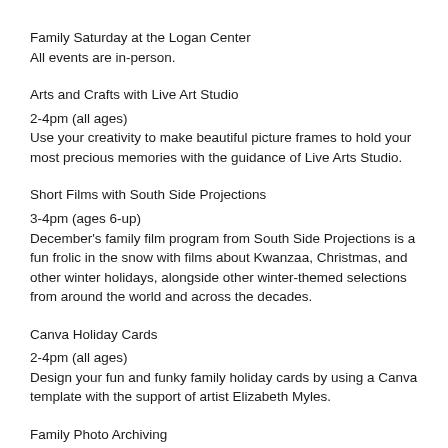Family Saturday at the Logan Center
All events are in-person.
Arts and Crafts with Live Art Studio
2-4pm (all ages)
Use your creativity to make beautiful picture frames to hold your most precious memories with the guidance of Live Arts Studio.
Short Films with South Side Projections
3-4pm (ages 6-up)
December's family film program from South Side Projections is a fun frolic in the snow with films about Kwanzaa, Christmas, and other winter holidays, alongside other winter-themed selections from around the world and across the decades.
Canva Holiday Cards
2-4pm (all ages)
Design your fun and funky family holiday cards by using a Canva template with the support of artist Elizabeth Myles.
Family Photo Archiving
2-4pm (all ages)